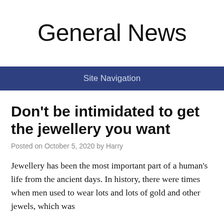General News
Site Navigation
Don't be intimidated to get the jewellery you want
Posted on October 5, 2020 by Harry
Jewellery has been the most important part of a human's life from the ancient days. In history, there were times when men used to wear lots and lots of gold and other jewels, which was